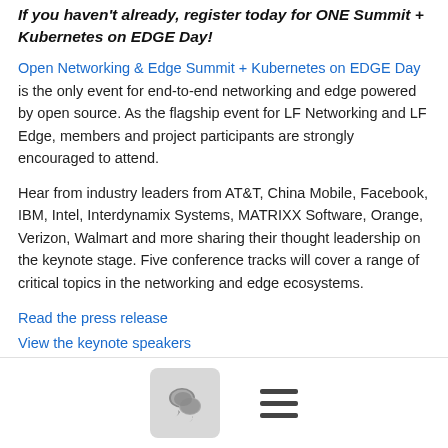If you haven't already, register today for ONE Summit + Kubernetes on EDGE Day!
Open Networking & Edge Summit + Kubernetes on EDGE Day is the only event for end-to-end networking and edge powered by open source. As the flagship event for LF Networking and LF Edge, members and project participants are strongly encouraged to attend.
Hear from industry leaders from AT&T, China Mobile, Facebook, IBM, Intel, Interdynamix Systems, MATRIXX Software, Orange, Verizon, Walmart and more sharing their thought leadership on the keynote stage. Five conference tracks will cover a range of critical topics in the networking and edge ecosystems.
Read the press release
View the keynote speakers
See the full schedule
Explore the tracks
See the LF Demo Pavilion